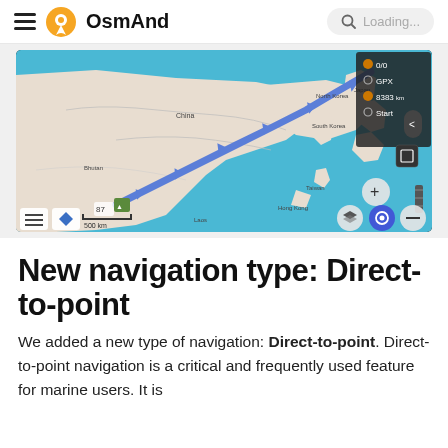OsmAnd  Loading...
[Figure (screenshot): OsmAnd app screenshot showing a map with a blue navigation route across Asia (China, North Korea, South Korea, Japan area). Route panels show 0/0, GPX, 8383 km, Start. Map controls visible: zoom +/-, location button, layers button.]
New navigation type: Direct-to-point
We added a new type of navigation: Direct-to-point. Direct-to-point navigation is a critical and frequently used feature for marine users. It is